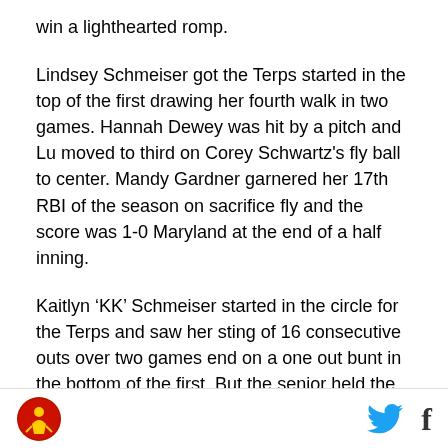win a lighthearted romp.
Lindsey Schmeiser got the Terps started in the top of the first drawing her fourth walk in two games. Hannah Dewey was hit by a pitch and Lu moved to third on Corey Schwartz's fly ball to center. Mandy Gardner garnered her 17th RBI of the season on sacrifice fly and the score was 1-0 Maryland at the end of a half inning.
Kaitlyn ‘KK’ Schmeiser started in the circle for the Terps and saw her sting of 16 consecutive outs over two games end on a one out bunt in the bottom of the first. But the senior held the lead and that kernel of confidence spilled over to the second as her